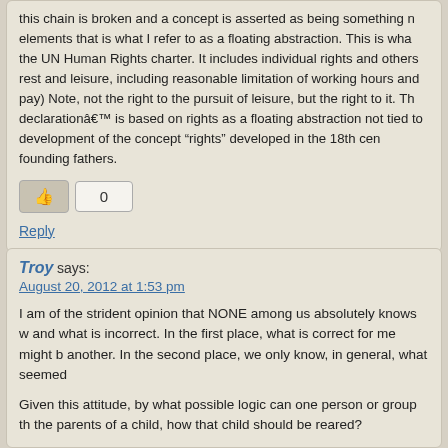this chain is broken and a concept is asserted as being something not tied to elements that is what I refer to as a floating abstraction. This is what the UN Human Rights charter. It includes individual rights and others rest and leisure, including reasonable limitation of working hours and pay) Note, not the right to the pursuit of leisure, but the right to it. This declarationâ€™ is based on rights as a floating abstraction not tied to development of the concept “rights” developed in the 18th cen founding fathers.
[Figure (other): Thumbs up button and vote count showing 0]
Reply
Troy says: August 20, 2012 at 1:53 pm
I am of the strident opinion that NONE among us absolutely knows w and what is incorrect. In the first place, what is correct for me might b another. In the second place, we only know, in general, what seemed
Given this attitude, by what possible logic can one person or group th the parents of a child, how that child should be reared?
For sure, I wish no children were raised as fundamentalist religionists or whatever. But, a large portion of our population would have forbad absent any hint of religion.